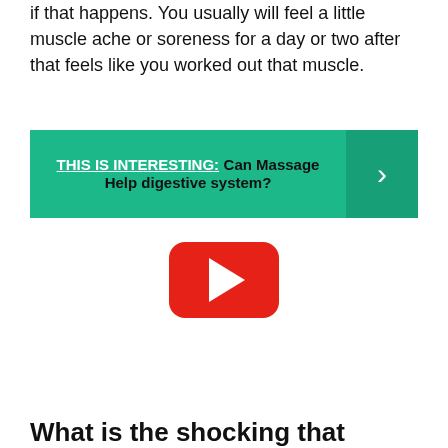if that happens. You usually will feel a little muscle ache or soreness for a day or two after that feels like you worked out that muscle.
[Figure (infographic): Green banner with text: THIS IS INTERESTING: Can Massage Help digestive system? with a right-arrow chevron on the right side]
[Figure (other): YouTube play button icon (red rounded rectangle with white triangle)]
What is the shocking that